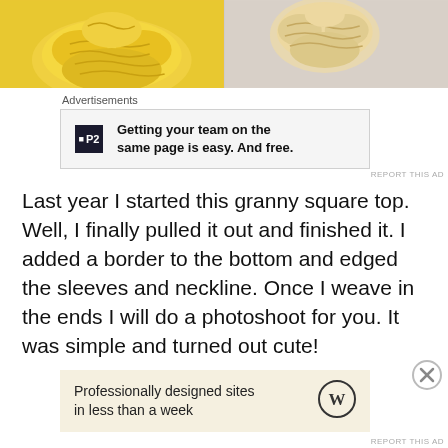[Figure (photo): Two crocheted yellow/gold yarn pieces side by side on white/gray background - left is brighter yellow, right is lighter/beige tone]
Advertisements
[Figure (screenshot): Advertisement for P2 - 'Getting your team on the same page is easy. And free.' with P2 logo]
Last year I started this granny square top.  Well, I finally pulled it out and finished it.  I added a border to the bottom and edged the sleeves and neckline.  Once I weave in the ends I will do a photoshoot for you.  It was simple and turned out cute!
Advertisements
[Figure (screenshot): Advertisement for WordPress - 'Professionally designed sites in less than a week' with WordPress logo]